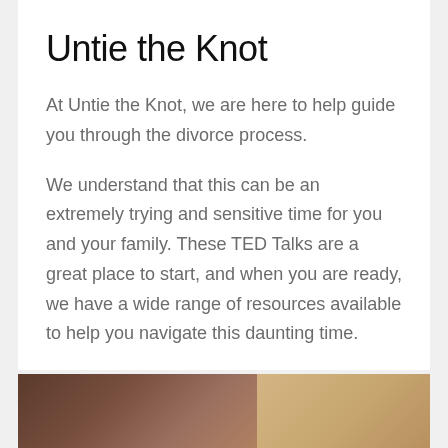Untie the Knot
At Untie the Knot, we are here to help guide you through the divorce process.
We understand that this can be an extremely trying and sensitive time for you and your family. These TED Talks are a great place to start, and when you are ready, we have a wide range of resources available to help you navigate this daunting time.
Reach out to see how we can support you in your divorce proceedings.
[Figure (photo): Photo strip at the bottom showing a person, partially visible, with warm brown and tan tones.]